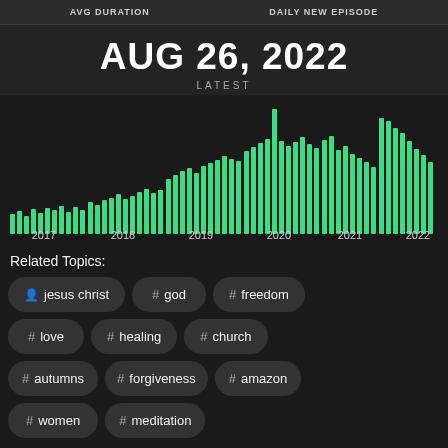AVG DURATION | DAILY NEW EPISODE
AUG 26, 2022
LATEST
[Figure (bar-chart): Episodes over time]
Related Topics:
jesus christ
# god
# freedom
# love
# healing
# church
# autumns
# forgiveness
# amazon
# women
# meditation